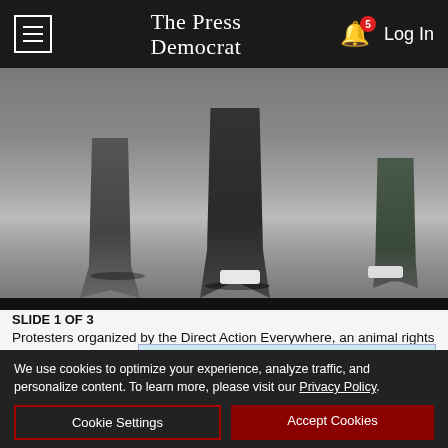The Press Democrat — Log In
[Figure (photo): Photo showing legs and feet of protesters standing on pavement, with shadows, sneakers visible, and a white object on the ground.]
SLIDE 1 OF 3
Protesters organized by the Direct Action Everywhere, an animal rights network, confronted deputies at a May protest at Farms. (BETH S...)
[Figure (infographic): Advertisement for Kelseyville Pear Festival, September 24, 2022. Celebrating 28 years of Small Town Magic! with a Learn More button.]
We use cookies to optimize your experience, analyze traffic, and personalize content. To learn more, please visit our Privacy Policy.
Cookie Settings
Accept Cookies